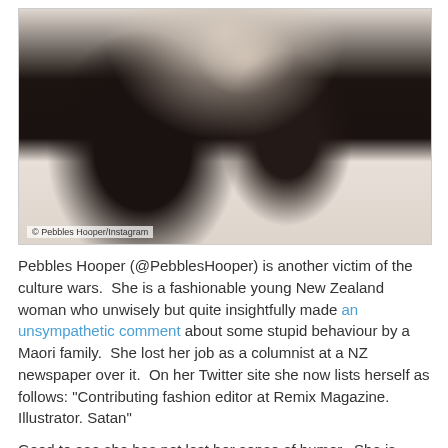[Figure (photo): A woman with long dark hair photographed from the side, wearing a white top. The image is a selfie-style photo taken indoors. Watermark reads '© Pebbles Hooper/Instagram'.]
© Pebbles Hooper/Instagram
Pebbles Hooper (@PebblesHooper) is another victim of the culture wars.  She is a fashionable young New Zealand woman who unwisely but quite insightfully made an unsympathetic comment about some stupid behaviour by a Maori family.  She lost her job as a columnist at a NZ newspaper over it.  On her Twitter site she now lists herself as follows: "Contributing fashion editor at Remix Magazine. Illustrator. Satan"
Good to see she has not lost her sense of humor.  She is